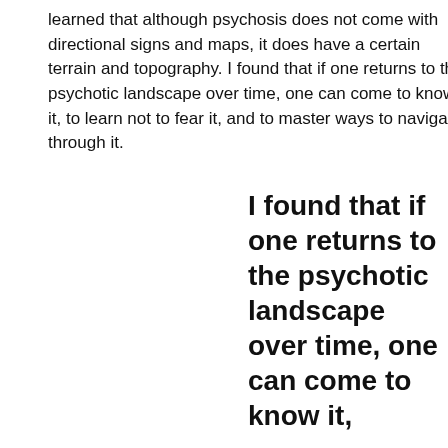learned that although psychosis does not come with directional signs and maps, it does have a certain terrain and topography. I found that if one returns to the psychotic landscape over time, one can come to know it, to learn not to fear it, and to master ways to navigate through it.
I found that if one returns to the psychotic landscape over time, one can come to know it,